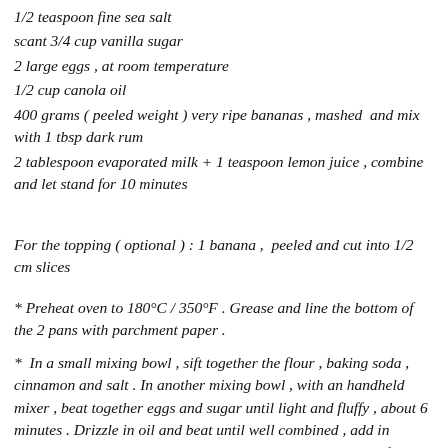1/2 teaspoon fine sea salt
scant 3/4 cup vanilla sugar
2 large eggs , at room temperature
1/2 cup canola oil
400 grams ( peeled weight ) very ripe bananas , mashed  and mix with 1 tbsp dark rum
2 tablespoon evaporated milk + 1 teaspoon lemon juice , combine and let stand for 10 minutes
For the topping ( optional ) : 1 banana ,  peeled and cut into 1/2 cm slices
* Preheat oven to 180°C / 350°F . Grease and line the bottom of the 2 pans with parchment paper .
* In a small mixing bowl , sift together the flour , baking soda , cinnamon and salt . In another mixing bowl , with an handheld mixer , beat together eggs and sugar until light and fluffy , about 6 minutes . Drizzle in oil and beat until well combined , add in banana and soured milk , mix well . Using a large spatula , fold in dry ingredients and pour into the prepared pans , gently put the